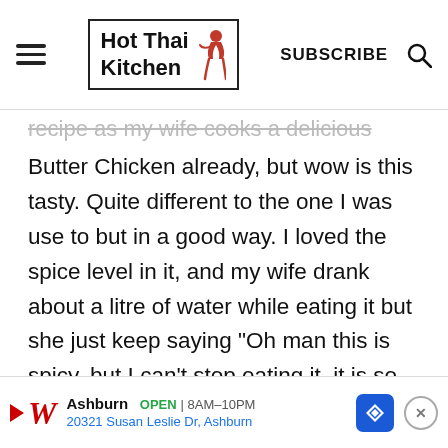Hot Thai Kitchen | SUBSCRIBE
recipe as my wife cooks a delicious
Butter Chicken already, but wow is this tasty. Quite different to the one I was use to but in a good way. I loved the spice level in it, and my wife drank about a litre of water while eating it but she just keep saying "Oh man this is spicy, but I can't stop eating it, it is so delicious". Well and truely worth a go. Served with some papadums, naturally.
Ashburn OPEN 8AM-10PM 20321 Susan Leslie Dr, Ashburn